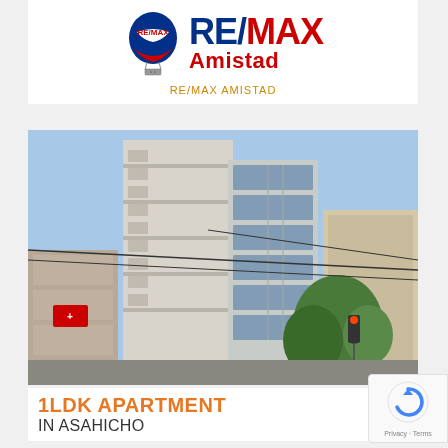[Figure (logo): RE/MAX Amistad logo with hot air balloon icon and red/blue wordmark]
RE/MAX AMISTAD
[Figure (photo): Exterior photo of a modern high-rise apartment building in Asahicho, photographed from street level showing multiple floors with balconies and large windows]
1LDK APARTMENT
IN ASAHICHO